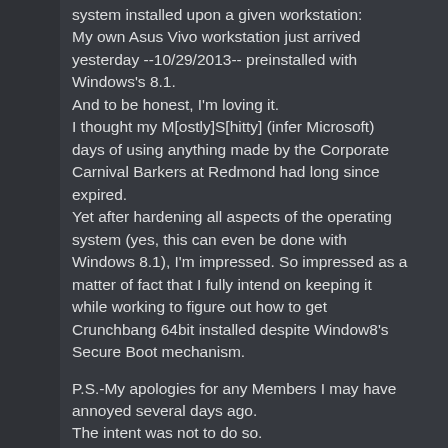system installed upon a given workstation: My own Asus Vivo workstation just arrived yesterday --10/29/2013-- preinstalled with Windows's 8.1.
And to be honest, I'm loving it.
I thought my M[ostly]S[hitty] (infer Microsoft) days of using anything made by the Corporate Carnival Barkers at Redmond had long since expired.
Yet after hardening all aspects of the operating system (yes, this can even be done with Windows 8.1), I'm impressed. So impressed as a matter of fact that I fully intend on keeping it while working to figure out how to get Crunchbang 64bit installed despite Window8's Secure Boot mechanism.

P.S.-My apologies for any Members I may have annoyed several days ago.
The intent was not to do so.
My nature is to merely be aloof so to speak, per se.